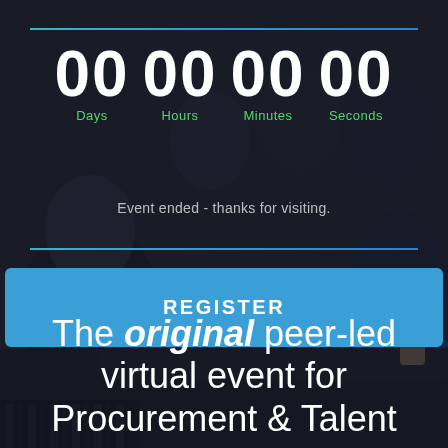[Figure (photo): Dark background photo of people sitting around a table in a business meeting/conference setting, with a dark blue overlay.]
00 Days   00 Hours   00 Minutes   00 Seconds
Event ended - thanks for visiting.
REGISTER
The original peer-led virtual event for Procurement & Talent